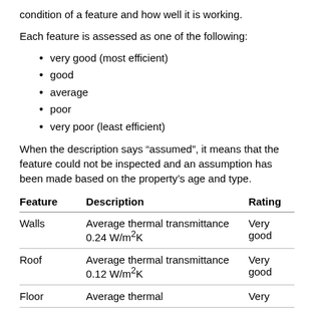condition of a feature and how well it is working.
Each feature is assessed as one of the following:
very good (most efficient)
good
average
poor
very poor (least efficient)
When the description says “assumed”, it means that the feature could not be inspected and an assumption has been made based on the property’s age and type.
| Feature | Description | Rating |
| --- | --- | --- |
| Walls | Average thermal transmittance 0.24 W/m²K | Very good |
| Roof | Average thermal transmittance 0.12 W/m²K | Very good |
| Floor | Average thermal | Very |